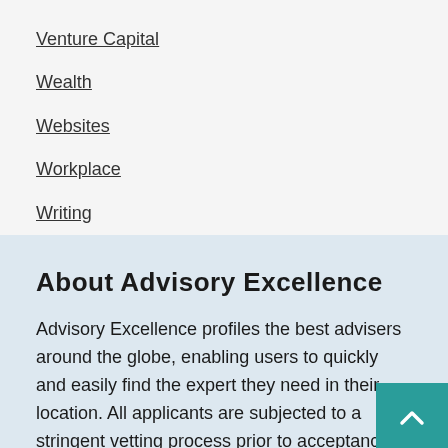Venture Capital
Wealth
Websites
Workplace
Writing
About Advisory Excellence
Advisory Excellence profiles the best advisers around the globe, enabling users to quickly and easily find the expert they need in their location. All applicants are subjected to a stringent vetting process prior to acceptance.